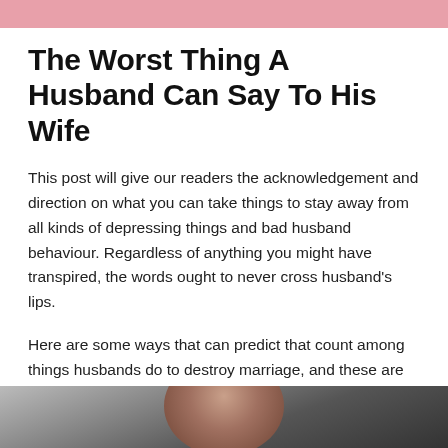[Figure (other): Pink decorative bar at the top of the page]
The Worst Thing A Husband Can Say To His Wife
This post will give our readers the acknowledgement and direction on what you can take things to stay away from all kinds of depressing things and bad husband behaviour. Regardless of anything you might have transpired, the words ought to never cross husband's lips.
Here are some ways that can predict that count among things husbands do to destroy marriage, and these are one of the worst things a husband should not say to wife. Now, let's go through these-
[Figure (photo): Partial photo of a couple at the bottom of the page, cropped]